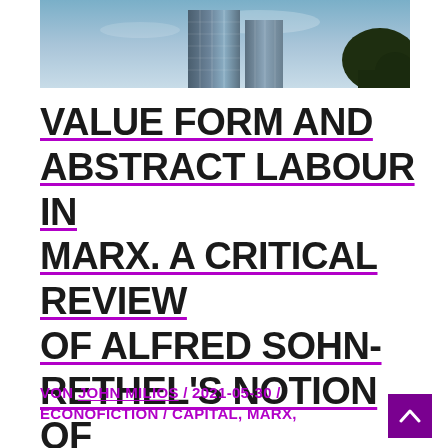[Figure (photo): Photograph of modern glass skyscrapers against a blue sky, with dark tree foliage visible on the right edge.]
VALUE FORM AND ABSTRACT LABOUR IN MARX. A CRITICAL REVIEW OF ALFRED SOHN-RETHEL'S NOTION OF “REAL ABSTRACTION”
VON JOHN MILIOS / 2021-05-30 / ECONOFICTION / CAPITAL, MARX,